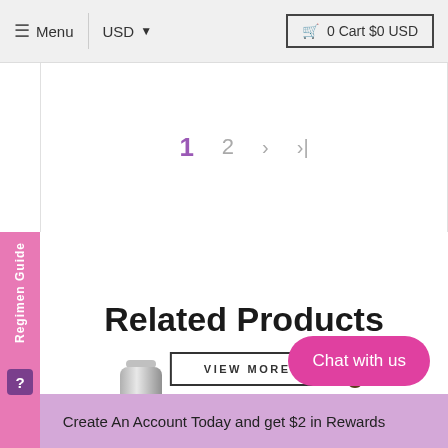≡ Menu  |  USD ▾   🛒 0 Cart $0 USD
1  2  >  >|
Regimen Guide  ?
Related Products
VIEW MORE
[Figure (photo): Silver/grey cosmetic bottle product image]
[Figure (photo): Peach/beige cosmetic product image]
Chat with us
Create An Account Today and get $2 in Rewards